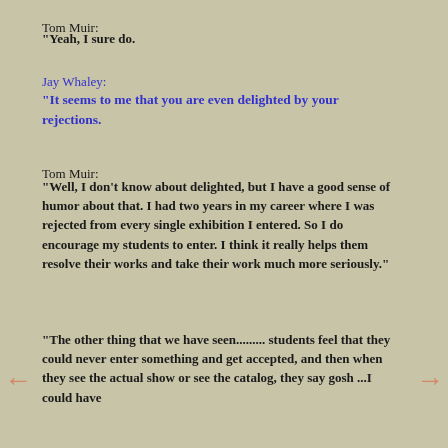Tom Muir:
"Yeah, I sure do.
Jay Whaley:
"It seems to me that you are even delighted by your rejections.
Tom Muir:
"Well, I don't know about delighted, but I have a good sense of humor about that. I had two years in my career where I was rejected from every single exhibition I entered. So I do encourage my students to enter. I think it really helps them resolve their works and take their work much more seriously."
"The other thing that we have seen......... students feel that they could never enter something and get accepted, and then when they see the actual show or see the catalog, they say gosh ...I could have